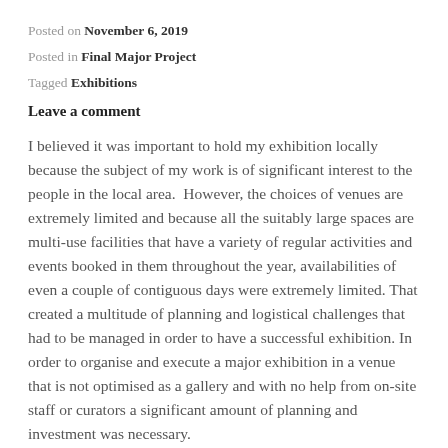Posted on November 6, 2019
Posted in Final Major Project
Tagged Exhibitions
Leave a comment
I believed it was important to hold my exhibition locally because the subject of my work is of significant interest to the people in the local area.  However, the choices of venues are extremely limited and because all the suitably large spaces are multi-use facilities that have a variety of regular activities and events booked in them throughout the year, availabilities of even a couple of contiguous days were extremely limited. That created a multitude of planning and logistical challenges that had to be managed in order to have a successful exhibition. In order to organise and execute a major exhibition in a venue that is not optimised as a gallery and with no help from on-site staff or curators a significant amount of planning and investment was necessary.